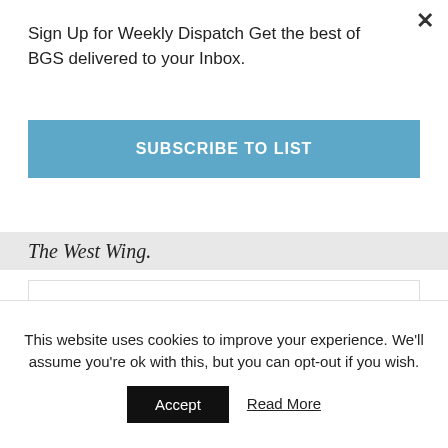Sign Up for Weekly Dispatch Get the best of BGS delivered to your Inbox.
SUBSCRIBE TO LIST
The West Wing.
[Figure (other): White empty rectangle box on grey background]
This website uses cookies to improve your experience. We'll assume you're ok with this, but you can opt-out if you wish.
Accept
Read More